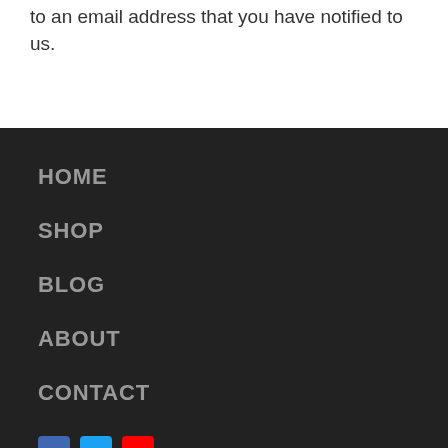to an email address that you have notified to us.
HOME
SHOP
BLOG
ABOUT
CONTACT